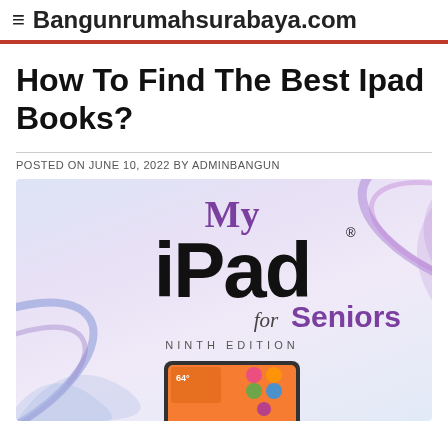≡ Bangunrumahsurabaya.com
How To Find The Best Ipad Books?
POSTED ON JUNE 10, 2022 BY ADMINBANGUN
[Figure (photo): Book cover: My iPad for Seniors, Ninth Edition, showing an iPad device with orange gradient screen]